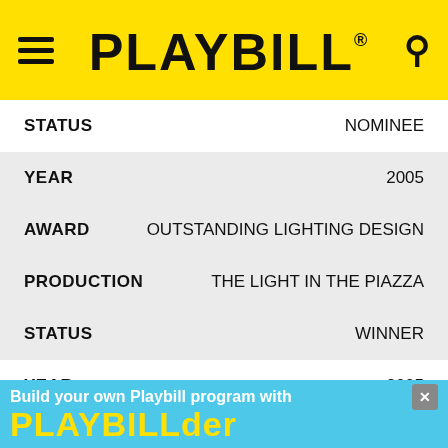PLAYBILL
| FIELD | VALUE |
| --- | --- |
| STATUS | NOMINEE |
| YEAR | 2005 |
| AWARD | OUTSTANDING LIGHTING DESIGN |
| PRODUCTION | THE LIGHT IN THE PIAZZA |
| STATUS | WINNER |
| YEAR | 2005 |
| AWARD | OUTSTANDING LIGHTING DESIGN |
| PRODUCTION | BELLE EPOQUE |
| STATUS | NOMINEE |
[Figure (infographic): Advertisement banner: 'Build your own Playbill program with PLAYBILLder' with close button, cyan background with yellow text for PLAYBILLder]